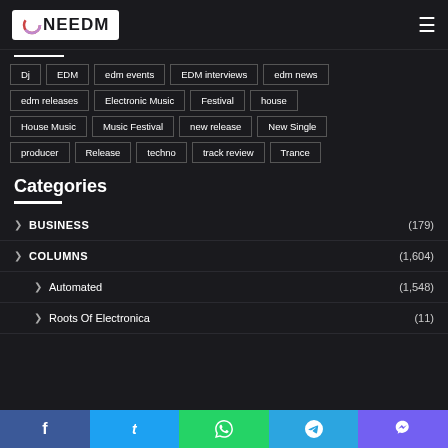ONEEDM
Dj
EDM
edm events
EDM interviews
edm news
edm releases
Electronic Music
Festival
house
House Music
Music Festival
new release
New Single
producer
Release
techno
track review
Trance
Categories
BUSINESS (179)
COLUMNS (1,604)
Automated (1,548)
Roots Of Electronica (11)
Social share bar: Facebook, Twitter, WhatsApp, Telegram, Viber